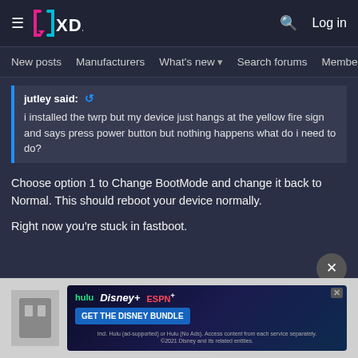XDA Developers — Navigation header with hamburger menu, XDA logo, search icon, Log in
New posts  Manufacturers  What's new ▾  Search forums  Membe  >
jutley said: 🔄
i installed the twrp but my device just hangs at the yellow fire sign and says press power button but nothing happens what do i need to do?
Choose option 1 to Change BootMode and change it back to Normal. This should reboot your device normally.

Right now you're stuck in fastboot.
[Figure (screenshot): Disney Bundle advertisement banner showing Hulu, Disney+, and ESPN+ logos with 'GET THE DISNEY BUNDLE' call to action button. Fine print: Incl. Hulu (ad-supported) or Hulu (No Ads). Access content from each service separately. ©2021 Disney and its related entities.]